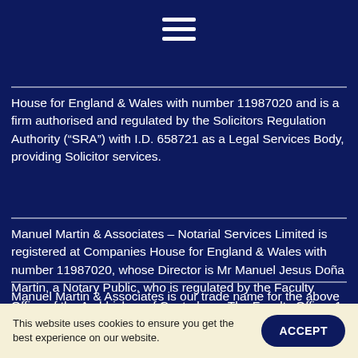[Figure (other): Hamburger menu icon (three horizontal white lines) on dark navy background]
House for England & Wales with number 11987020 and is a firm authorised and regulated by the Solicitors Regulation Authority (“SRA”) with I.D. 658721 as a Legal Services Body, providing Solicitor services.
Manuel Martin & Associates – Notarial Services Limited is registered at Companies House for England & Wales with number 11987020, whose Director is Mr Manuel Jesus Doña Martin, a Notary Public, who is regulated by the Faculty Office of the Archbishop of Canterbury: The Faculty Office, 1 The Sanctuary, Westminster, London SW1P 3JT.
Manuel Martin & Associates is our trade name for the above
This website uses cookies to ensure you get the best experience on our website.